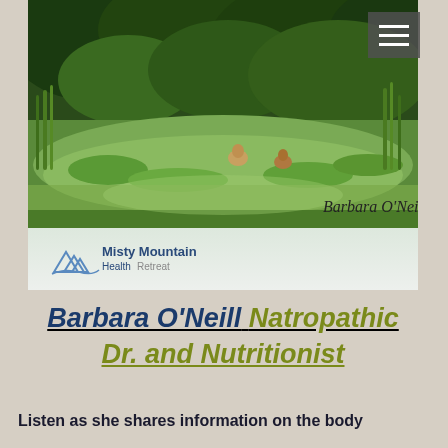[Figure (photo): Nature scene with people swimming in a green lush river or water body surrounded by dense green vegetation and trees. A book cover or promotional image for Misty Mountain Health Retreat by Barbara O'Neill.]
Barbara O'Neill Natropathic Dr. and Nutritionist
Listen as she shares information on the body